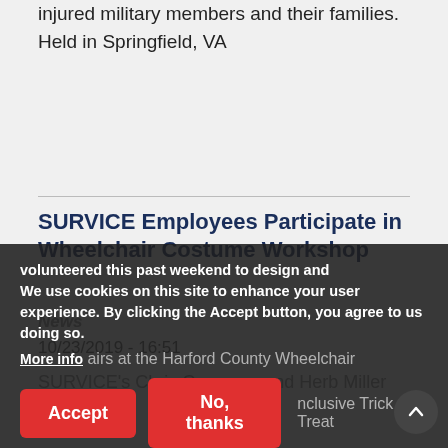injured military members and their families. Held in Springfield, VA
SURVICE Employees Participate in Wheelchair Costume Workshop
News
10/23/2019 - 16:51
SURVICE's Chris Cosgrove and Herb Miller
volunteered this past weekend to design and
We use cookies on this site to enhance your user experience. By clicking the Accept button, you agree to us doing so.
More info
airs at the Harford County Wheelchair
nclusive Trick or Treat